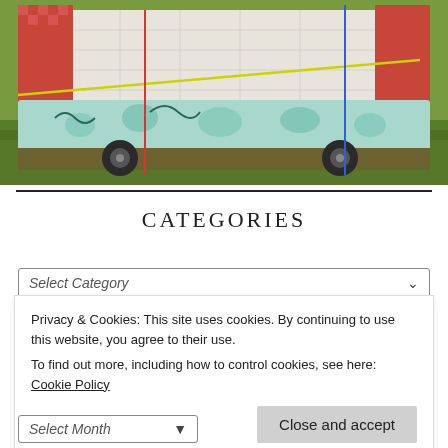[Figure (photo): A quilted fabric camper/caravan on grass with red gingham, teal floral, and white quilted panels. Colored annotation lines overlaid: yellow horizontal line, red vertical line, blue vertical line.]
CATEGORIES
Select Category
Privacy & Cookies: This site uses cookies. By continuing to use this website, you agree to their use. To find out more, including how to control cookies, see here: Cookie Policy
Close and accept
Select Month